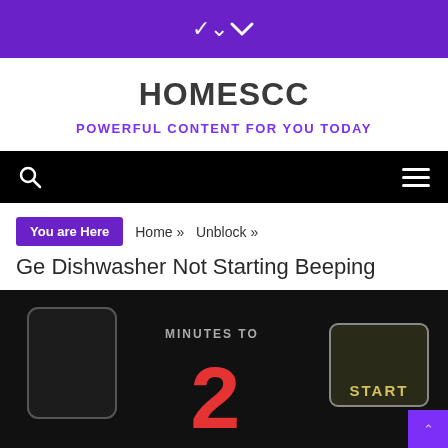▾
HOMESCC
POWERFUL CONTENT FOR YOU TODAY
[navigation bar with search icon and hamburger menu]
You are Here   Home »   Unblock »
Ge Dishwasher Not Starting Beeping
[Figure (photo): Closeup of a dishwasher control panel showing MINUTES TO text, a red digit 2, and a START button]